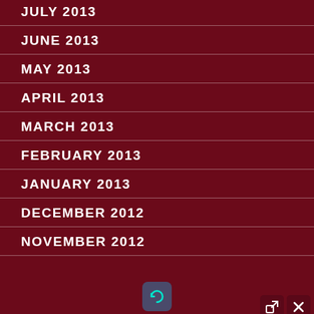JULY 2013
JUNE 2013
MAY 2013
APRIL 2013
MARCH 2013
FEBRUARY 2013
JANUARY 2013
DECEMBER 2012
NOVEMBER 2012
[Figure (screenshot): Chat widget popup with title 'How can we help you today?' and four radio button options: Wills, Trusts, Probate Litigation, Probate Administration. Two icon buttons (external link and close X) appear in top right corner. A refresh/chat icon appears at the bottom.]